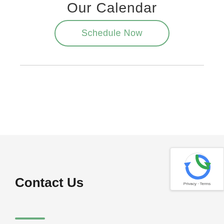Our Calendar
Schedule Now
Contact Us